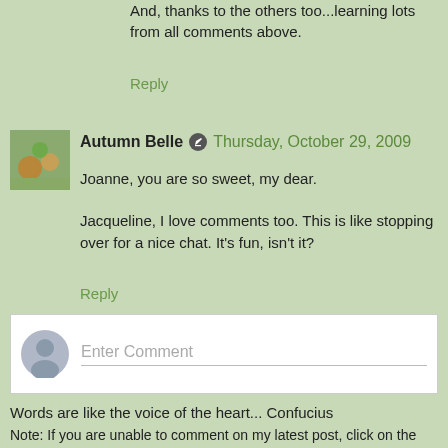And, thanks to the others too...learning lots from all comments above.
Reply
Autumn Belle  Thursday, October 29, 2009
Joanne, you are so sweet, my dear.
Jacqueline, I love comments too. This is like stopping over for a nice chat. It's fun, isn't it?
Reply
Enter Comment
Words are like the voice of the heart... Confucius
Note: If you are unable to comment on my latest post, click on the post title to reopen the post and try writing your comments again. Comments